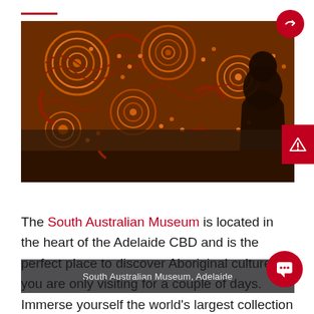[Figure (photo): Person viewing large Aboriginal dot painting at South Australian Museum, Adelaide. The painting features circular patterns and symbols in orange, red, and brown tones on dark background.]
South Australian Museum, Adelaide
The South Australian Museum is located in the heart of the Adelaide CBD and is the perfect place to discover Aboriginal culture if you are only visiting for a couple of days. Immerse yourself the world's largest collection of Australian Aboriginal cultural material as you peruse over 3,000 artefacts on display - including the culturally